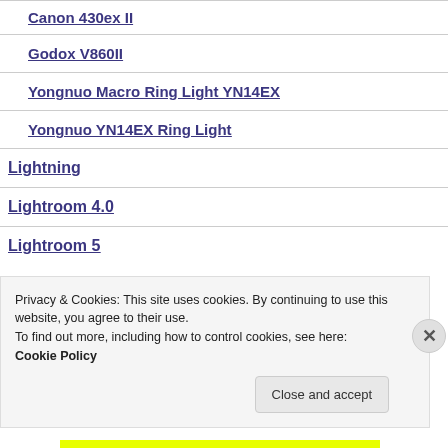Canon 430ex II
Godox V860II
Yongnuo Macro Ring Light YN14EX
Yongnuo YN14EX Ring Light
Lightning
Lightroom 4.0
Lightroom 5
Privacy & Cookies: This site uses cookies. By continuing to use this website, you agree to their use.
To find out more, including how to control cookies, see here: Cookie Policy